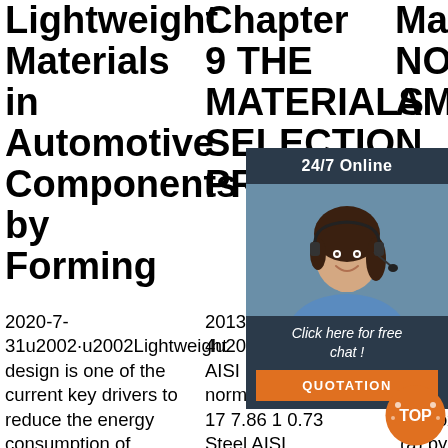Lightweight Materials in Automotive Components by Forming
Chapter 9 THE MATERIALS SELECTION PROCESS
NORTH AMERICAN
2020-7-31u2002·u2002Lightweight design is one of the current key drivers to reduce the energy consumption of
2013-6-4u2002·u2002Start AISI 1020 normalized 117 17 7.86 1 0.73 Steel AISI 4140, normalized 222 32 7.86 1.38
2017... Start your expe... rank them approximately: (a) by stiffness (modulus, E). A sheet of a
[Figure (photo): Customer service representative woman with headset smiling, chat widget overlay with '24/7 Online', 'Click here for free chat!' and orange QUOTATION button]
[Figure (logo): TOP circular orange badge/logo at bottom right corner]